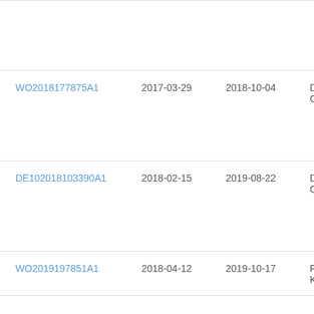| Document ID | Filing Date | Publication Date | Assignee |
| --- | --- | --- | --- |
| WO2018177875A1 | 2017-03-29 | 2018-10-04 | De... Gm... |
| DE102018103390A1 | 2018-02-15 | 2019-08-22 | De... Gm... |
| WO2019197851A1 | 2018-04-12 | 2019-10-17 | Fle... Kft |